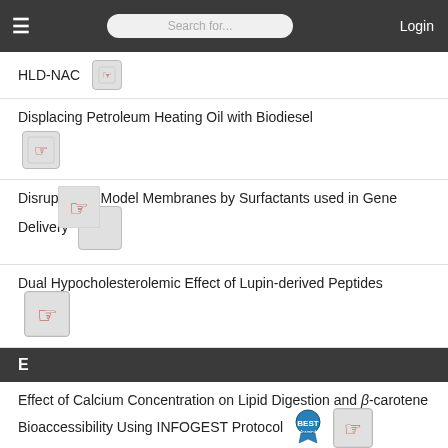☰  Search for...  Login
HLD-NAC
Displacing Petroleum Heating Oil with Biodiesel
Disruption of Model Membranes by Surfactants used in Gene Delivery
Dual Hypocholesterolemic Effect of Lupin-derived Peptides
E
Effect of Calcium Concentration on Lipid Digestion and β-carotene Bioaccessibility Using INFOGEST Protocol
Effect of Oil Types and Frying Cycles on Flavor Compounds of French Fries during Deep-frying